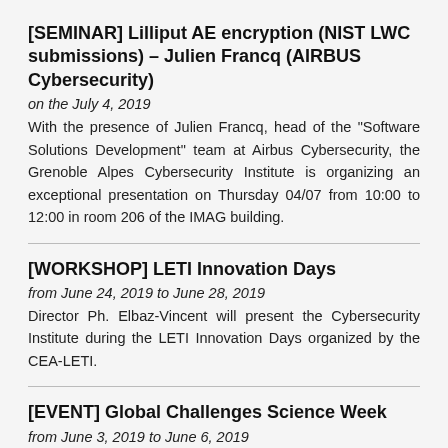[SEMINAR] Lilliput AE encryption (NIST LWC submissions) – Julien Francq (AIRBUS Cybersecurity)
on the July 4, 2019
With the presence of Julien Francq, head of the "Software Solutions Development" team at Airbus Cybersecurity, the Grenoble Alpes Cybersecurity Institute is organizing an exceptional presentation on Thursday 04/07 from 10:00 to 12:00 in room 206 of the IMAG building.
[WORKSHOP] LETI Innovation Days
from June 24, 2019 to June 28, 2019
Director Ph. Elbaz-Vincent will present the Cybersecurity Institute during the LETI Innovation Days organized by the CEA-LETI.
[EVENT] Global Challenges Science Week
from June 3, 2019 to June 6, 2019
The Global Challenges Science Week 2019 is a major